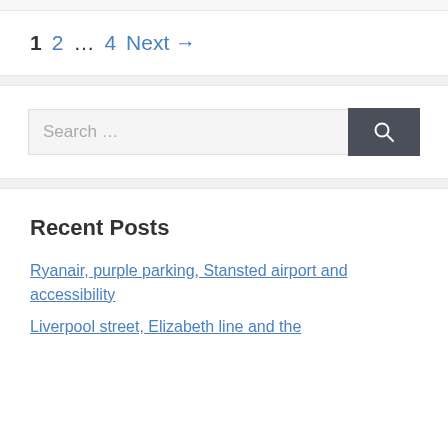1  2  …  4  Next →
Search …
Recent Posts
Ryanair, purple parking, Stansted airport and accessibility
Liverpool street, Elizabeth line and the